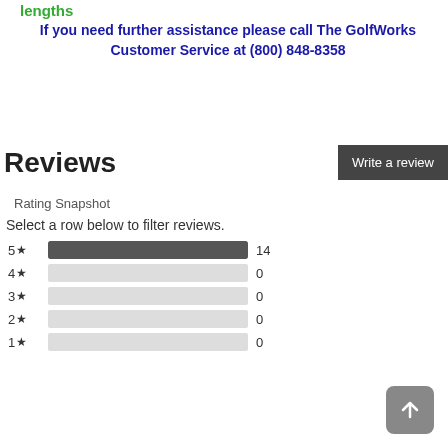lengths
If you need further assistance please call The GolfWorks Customer Service at (800) 848-8358
Reviews
Rating Snapshot
Select a row below to filter reviews.
[Figure (bar-chart): Rating Snapshot]